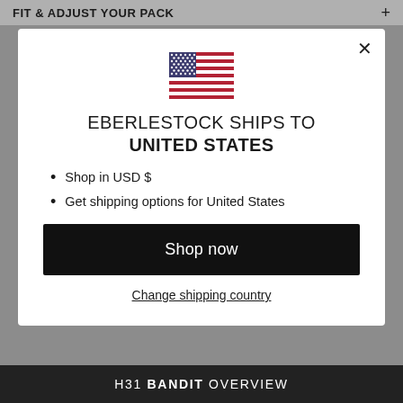FIT & ADJUST YOUR PACK +
[Figure (illustration): US flag emoji / icon displayed in the modal dialog]
EBERLESTOCK SHIPS TO UNITED STATES
Shop in USD $
Get shipping options for United States
Shop now
Change shipping country
H31 BANDIT OVERVIEW